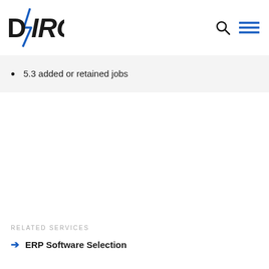DVIRC
5.3 added or retained jobs
RELATED SERVICES
→ ERP Software Selection